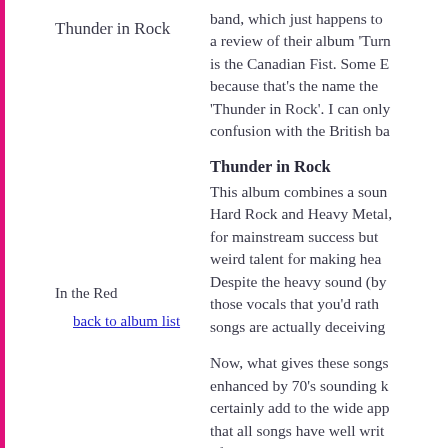Thunder in Rock
band, which just happens to a review of their album 'Turn is the Canadian Fist. Some E because that's the name the 'Thunder in Rock'. I can only confusion with the British ba
Thunder in Rock
This album combines a soun Hard Rock and Heavy Metal, for mainstream success but weird talent for making hea Despite the heavy sound (by those vocals that you'd rath songs are actually deceiving
In the Red
back to album list
Now, what gives these songs enhanced by 70's sounding k certainly add to the wide app that all songs have well writ often catchy as hell. Oddly e